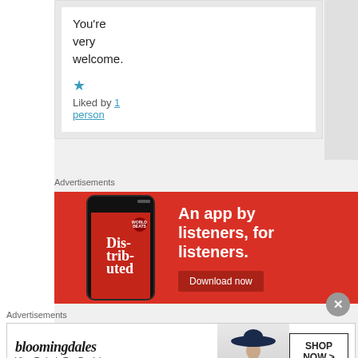You're very welcome.
★ Liked by 1 person
Advertisements
[Figure (screenshot): Red advertisement banner for a podcast/audio app showing a smartphone with 'Dis-trib-uted' text on screen. Right side reads 'An app by listeners, for listeners.' with a 'Download now' button.]
Advertisements
[Figure (screenshot): Bloomingdale's advertisement banner showing logo, 'View Today's Top Deals!' tagline, a model wearing a large hat, and a 'SHOP NOW >' button.]